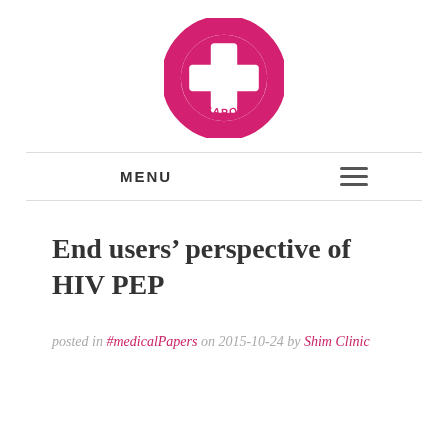[Figure (logo): Shim Clinic Singapore circular logo with pink border, white cross on pink background, text reading SHIM CLINIC on top arc and SINGAPORE on bottom arc with dots]
End users' perspective of HIV PEP
posted in #medicalPapers on 2015-10-24 by Shim Clinic